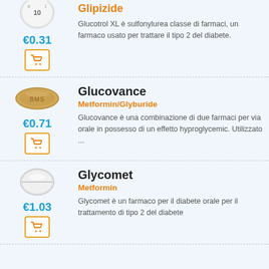[Figure (photo): White round pill with '10' marking, partially visible at top]
Glipizide
€0.31
[Figure (illustration): Shopping cart icon in orange border box]
Glucotrol XL è sulfonylurea classe di farmaci, un farmaco usato per trattare il tipo 2 del diabete.
[Figure (photo): Gold/tan oblong pill with 'BMS' imprint]
Glucovance
Metformin/Glyburide
€0.71
[Figure (illustration): Shopping cart icon in orange border box]
Glucovance è una combinazione di due farmaci per via orale in possesso di un effetto hyproglycemic. Utilizzato ...
[Figure (photo): White round tablet with score line]
Glycomet
Metformin
€1.03
[Figure (illustration): Shopping cart icon in orange border box]
Glycomet è un farmaco per il diabete orale per il trattamento di tipo 2 del diabete